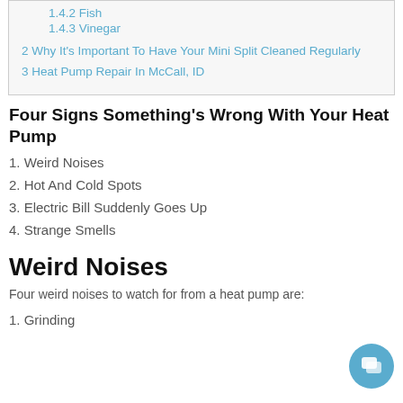1.4.2 Fish
1.4.3 Vinegar
2 Why It's Important To Have Your Mini Split Cleaned Regularly
3 Heat Pump Repair In McCall, ID
Four Signs Something's Wrong With Your Heat Pump
1. Weird Noises
2. Hot And Cold Spots
3. Electric Bill Suddenly Goes Up
4. Strange Smells
Weird Noises
Four weird noises to watch for from a heat pump are:
1. Grinding